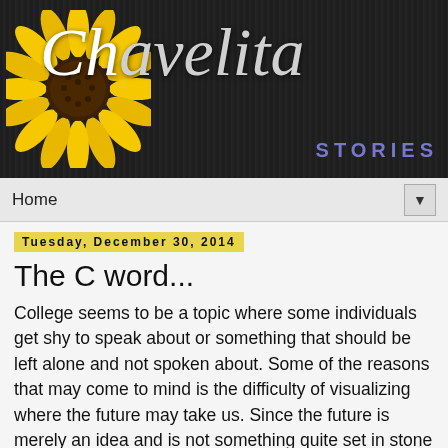[Figure (illustration): Chavelita Stories blog header banner with a sunflower on the left, cursive 'Chavelita' text in gray/white script on a dark wood-grain background, and 'STORIES' in purple bold letters at the bottom right]
Home ▼
Tuesday, December 30, 2014
The C word...
College seems to be a topic where some individuals get shy to speak about or something that should be left alone and not spoken about. Some of the reasons that may come to mind is the difficulty of visualizing where the future may take us. Since the future is merely an idea and is not something quite set in stone yet, pretty much anything can go. In circumstances like these we are forced to make decisions